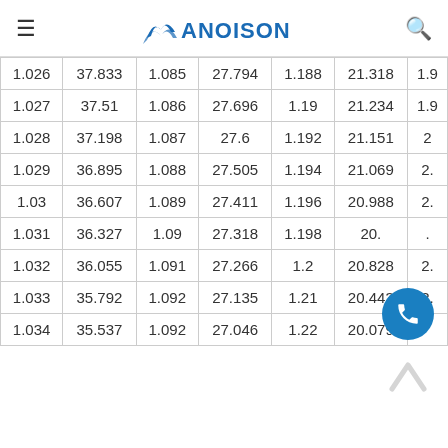FANOISON
| 1.026 | 37.833 | 1.085 | 27.794 | 1.188 | 21.318 | 1.9… |
| 1.027 | 37.51 | 1.086 | 27.696 | 1.19 | 21.234 | 1.9… |
| 1.028 | 37.198 | 1.087 | 27.6 | 1.192 | 21.151 | 2… |
| 1.029 | 36.895 | 1.088 | 27.505 | 1.194 | 21.069 | 2… |
| 1.03 | 36.607 | 1.089 | 27.411 | 1.196 | 20.988 | 2… |
| 1.031 | 36.327 | 1.09 | 27.318 | 1.198 | 20.… | … |
| 1.032 | 36.055 | 1.091 | 27.266 | 1.2 | 20.828 | 2… |
| 1.033 | 35.792 | 1.092 | 27.135 | 1.21 | 20.443 | 2… |
| 1.034 | 35.537 | 1.092 | 27.046 | 1.22 | 20.079 | … |